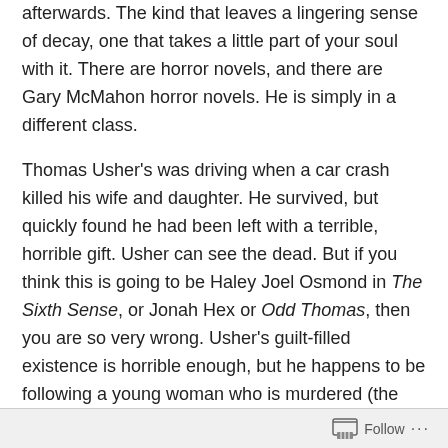afterwards. The kind that leaves a lingering sense of decay, one that takes a little part of your soul with it. There are horror novels, and there are Gary McMahon horror novels. He is simply in a different class.
Thomas Usher's was driving when a car crash killed his wife and daughter. He survived, but quickly found he had been left with a terrible, horrible gift. Usher can see the dead. But if you think this is going to be Haley Joel Osmond in The Sixth Sense, or Jonah Hex or Odd Thomas, then you are so very wrong. Usher's guilt-filled existence is horrible enough, but he happens to be following a young woman who is murdered (the third to be hung), and his friend is related to a young girl who is abducted. How are the abduction and the murders related, and can Usher uses the powers that he's been trying to
Follow